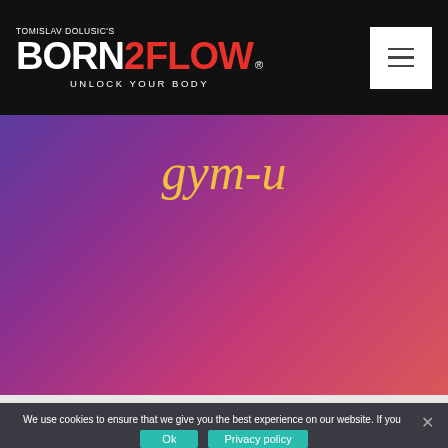TOMISLAV DOLUSIC'S BORN2FLOW ® UNLOCK YOUR BODY
[Figure (logo): Born2Flow logo with white BORN and red 2FLOW text on black background, with tagline UNLOCK YOUR BODY]
gym-u
We use cookies to ensure that we give you the best experience on our website. If you continue to use this site we will assume that you are happy with it.
Ok   Privacy policy